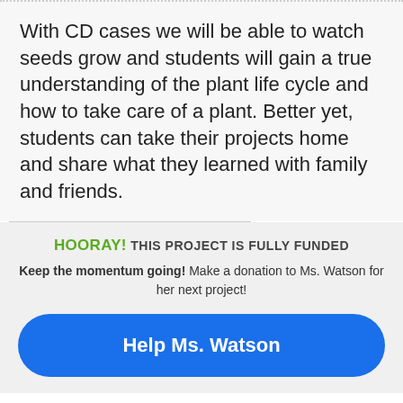With CD cases we will be able to watch seeds grow and students will gain a true understanding of the plant life cycle and how to take care of a plant. Better yet, students can take their projects home and share what they learned with family and friends.
HOORAY! THIS PROJECT IS FULLY FUNDED
Keep the momentum going! Make a donation to Ms. Watson for her next project!
Help Ms. Watson